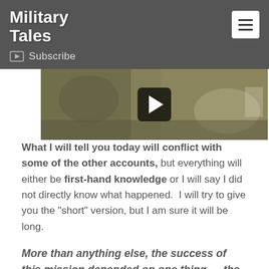Military Tales
Subscribe
[Figure (screenshot): Video thumbnail showing black and white photograph of military personnel, with a YouTube-style play button overlay]
What I will tell you today will conflict with some of the other accounts, but everything will either be first-hand knowledge or I will say I did not directly know what happened.  I will try to give you the "short" version, but I am sure it will be long.
More than anything else, the success of this mission depended on one thing — the extraordinary courage of Roger Locher.
On Jun 1, 1972, I was the Sandy lead for the strike